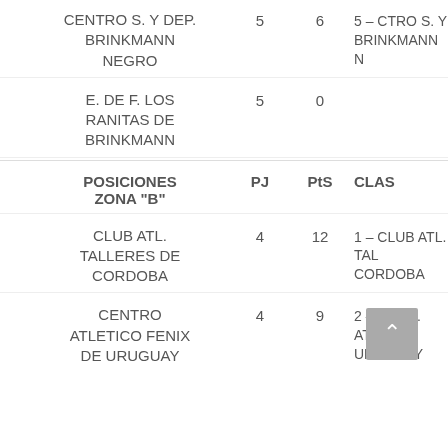CENTRO S. Y DEP. BRINKMANN NEGRO   5   6   5 – CTRO S. Y BRINKMANN N
E. DE F. LOS RANITAS DE BRINKMANN   5   0
POSICIONES ZONA "B"   PJ   PtS   CLAS
CLUB ATL. TALLERES DE CORDOBA   4   12   1 – CLUB ATL. TAL CORDOBA
CENTRO ATLETICO FENIX DE URUGUAY   4   9   2 – CTRO. ATL. FE URUGUAY